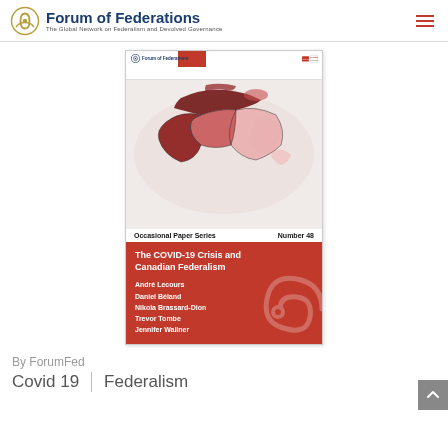Forum of Federations — The Global Network on Federalism and Devolved Governance
[Figure (illustration): Book cover for 'The COVID-19 Crisis and Canadian Federalism', Occasional Paper Series Number 48, with a map of Canada in red shades and Forum of Federations branding. Authors: André Lecours, Daniel Béland, Nikola Brassard-Dion, Trevor Tombe, Jennifer Wallner.]
By ForumFed
Covid 19 | Federalism